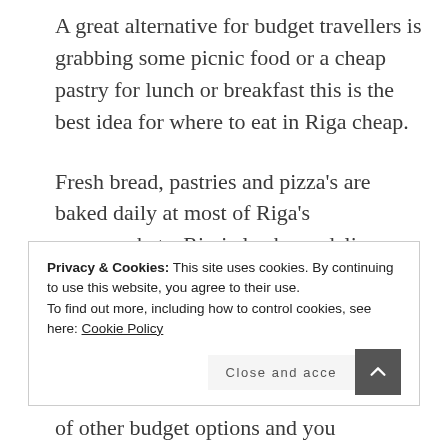A great alternative for budget travellers is grabbing some picnic food or a cheap pastry for lunch or breakfast this is the best idea for where to eat in Riga cheap.
Fresh bread, pastries and pizza's are baked daily at most of Riga's supermarkets. Rimi also has a deli counter for travellers who fancy something less snack-like, this is a
Privacy & Cookies: This site uses cookies. By continuing to use this website, you agree to their use.
To find out more, including how to control cookies, see here: Cookie Policy
of other budget options and you